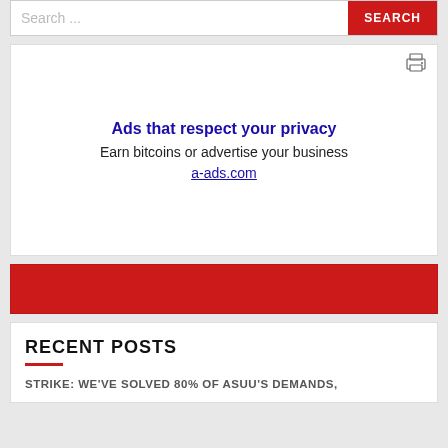Search ...
SEARCH
[Figure (other): Advertisement block: 'Ads that respect your privacy — Earn bitcoins or advertise your business — a-ads.com']
[Figure (other): Red banner/advertisement strip]
RECENT POSTS
STRIKE: WE'VE SOLVED 80% OF ASUU'S DEMANDS,